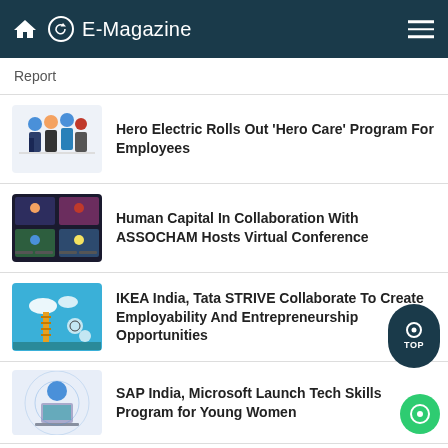E-Magazine
Report
Hero Electric Rolls Out 'Hero Care' Program For Employees
Human Capital In Collaboration With ASSOCHAM Hosts Virtual Conference
IKEA India, Tata STRIVE Collaborate To Create Employability And Entrepreneurship Opportunities
SAP India, Microsoft Launch Tech Skills Program for Young Women
DXC Technology, NASSCOM Collaborate For Employability Skills Program